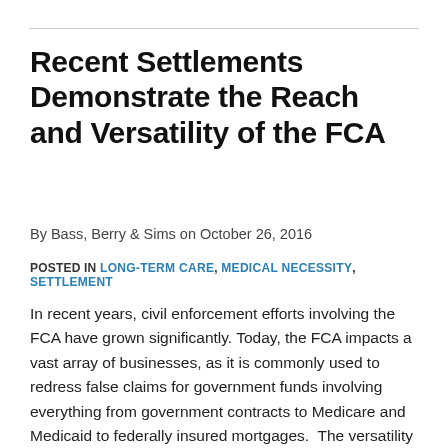Recent Settlements Demonstrate the Reach and Versatility of the FCA
By Bass, Berry & Sims on October 26, 2016
POSTED IN LONG-TERM CARE, MEDICAL NECESSITY, SETTLEMENT
In recent years, civil enforcement efforts involving the FCA have grown significantly. Today, the FCA impacts a vast array of businesses, as it is commonly used to redress false claims for government funds involving everything from government contracts to Medicare and Medicaid to federally insured mortgages. The versatility and reach of the FCA has enabled DOJ to use this area of law for government to...